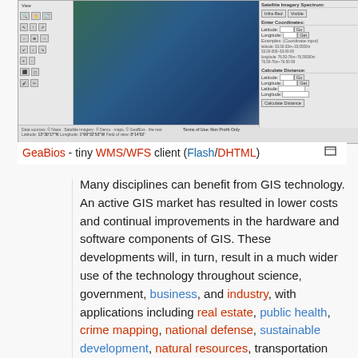[Figure (screenshot): Screenshot of GeaBios WMS/WFS GIS web client showing a satellite image with navigation controls on left, satellite imagery spectrum and coordinate entry panel on right, and status bar at bottom showing data sources, terms of use, and coordinate information.]
GeaBios - tiny WMS/WFS client (Flash/DHTML)
Many disciplines can benefit from GIS technology. An active GIS market has resulted in lower costs and continual improvements in the hardware and software components of GIS. These developments will, in turn, result in a much wider use of the technology throughout science, government, business, and industry, with applications including real estate, public health, crime mapping, national defense, sustainable development, natural resources, transportation and logistics. GIS is also